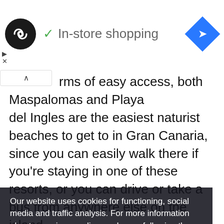[Figure (screenshot): Top navigation bar showing a round black logo with infinity-like symbol, a green checkmark with 'In-store shopping' text, and a blue diamond navigation icon on the right.]
rms of easy access, both Maspalomas and Playa del Ingles are the easiest naturist beaches to get to in Gran Canaria, since you can easily walk there if you're staying in one of these resorts, or you can drive or take a bus from anywhere else on the island.
[Figure (map): Google Maps screenshot showing the Maspalomas area of Gran Canaria with roads, ocean, and place markers.]
Our website uses cookies for functioning, social media and traffic analysis. For more information about our privacy policy read more following the next link.  Find out more
I understand!